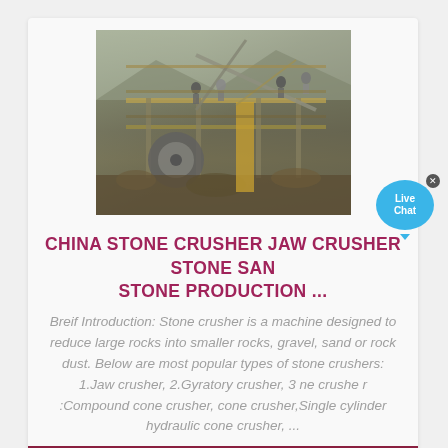[Figure (photo): Industrial stone crusher machinery site with workers standing on platform, heavy equipment and rock crushing machinery visible]
CHINA STONE CRUSHER JAW CRUSHER STONE SAND STONE PRODUCTION ...
Breif Introduction: Stone crusher is a machine designed to reduce large rocks into smaller rocks, gravel, sand or rock dust. Below are most popular types of stone crushers: 1.Jaw crusher, 2.Gyratory crusher, 3 ne crushe r :Compound cone crusher, cone crusher,Single cylinder hydraulic cone crusher, ...
More Details